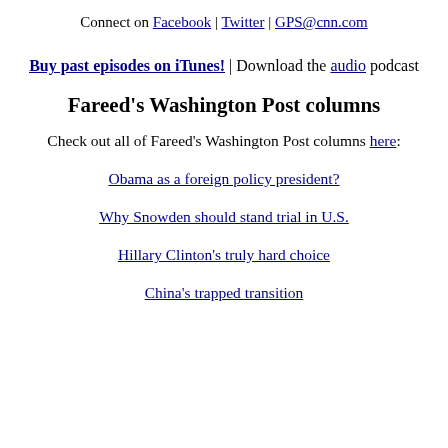Connect on Facebook | Twitter | GPS@cnn.com
Buy past episodes on iTunes! | Download the audio podcast
Fareed's Washington Post columns
Check out all of Fareed's Washington Post columns here:
Obama as a foreign policy president?
Why Snowden should stand trial in U.S.
Hillary Clinton's truly hard choice
China's trapped transition